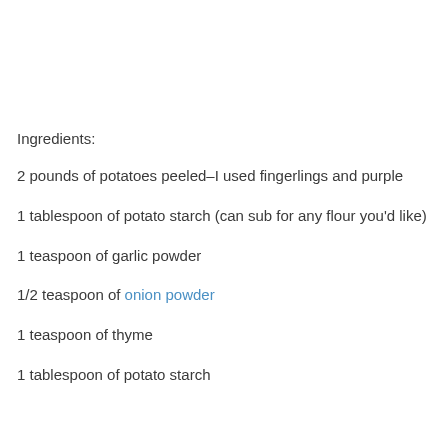Ingredients:
2 pounds of potatoes peeled–I used fingerlings and purple
1 tablespoon of potato starch (can sub for any flour you'd like)
1 teaspoon of garlic powder
1/2 teaspoon of onion powder
1 teaspoon of thyme
1 tablespoon of potato starch